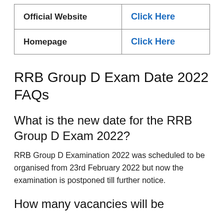| Official Website | Click Here |
| Homepage | Click Here |
RRB Group D Exam Date 2022 FAQs
What is the new date for the RRB Group D Exam 2022?
RRB Group D Examination 2022 was scheduled to be organised from 23rd February 2022 but now the examination is postponed till further notice.
How many vacancies will be